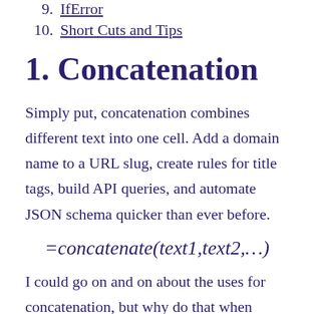9. IfError
10. Short Cuts and Tips
1. Concatenation
Simply put, concatenation combines different text into one cell. Add a domain name to a URL slug, create rules for title tags, build API queries, and automate JSON schema quicker than ever before.
I could go on and on about the uses for concatenation, but why do that when Annie